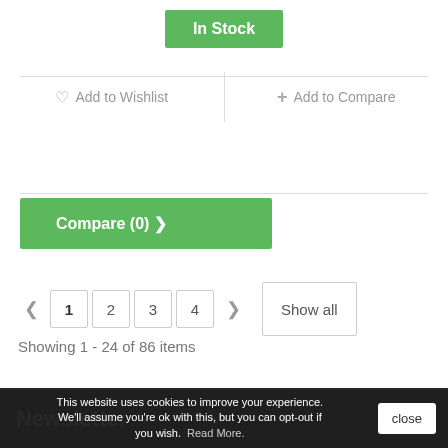In Stock
♡ Add to Wishlist
+ Add to Compare
Compare (0) >
< 1 2 3 4 > Show all
Showing 1 - 24 of 86 items
Newsletter
This website uses cookies to improve your experience. We'll assume you're ok with this, but you can opt-out if you wish. Read More.